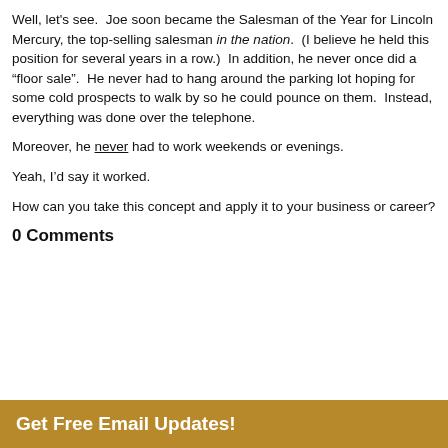Well, let's see. Joe soon became the Salesman of the Year for Lincoln Mercury, the top-selling salesman in the nation. (I believe he held this position for several years in a row.) In addition, he never once did a "floor sale". He never had to hang around the parking lot hoping for some cold prospects to walk by so he could pounce on them. Instead, everything was done over the telephone.
Moreover, he never had to work weekends or evenings.
Yeah, I'd say it worked.
How can you take this concept and apply it to your business or career?
0 Comments
Get Free Email Updates!